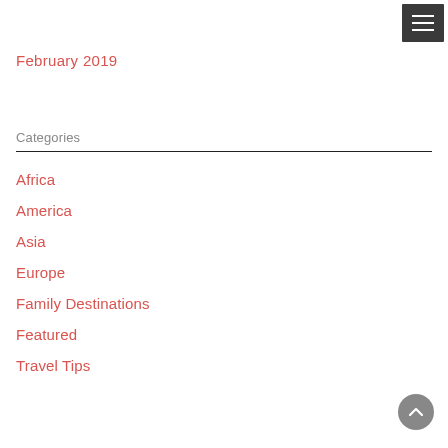[Figure (other): Hamburger menu button icon (three horizontal white lines on dark gray background)]
February 2019
Categories
Africa
America
Asia
Europe
Family Destinations
Featured
Travel Tips
[Figure (other): Scroll-to-top button: circular gray button with white upward chevron arrow]